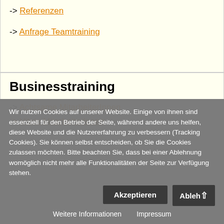-> Referenzen
-> Anfrage Teamtraining
Businesstraining
-> Achtsame MitarbeiterInnen
-> Vitale MitarbeiterInnen
Wir nutzen Cookies auf unserer Website. Einige von ihnen sind essenziell für den Betrieb der Seite, während andere uns helfen, diese Website und die Nutzererfahrung zu verbessern (Tracking Cookies). Sie können selbst entscheiden, ob Sie die Cookies zulassen möchten. Bitte beachten Sie, dass bei einer Ablehnung womöglich nicht mehr alle Funktionalitäten der Seite zur Verfügung stehen.
Akzeptieren | Ablehnen
Weitere Informationen   Impressum